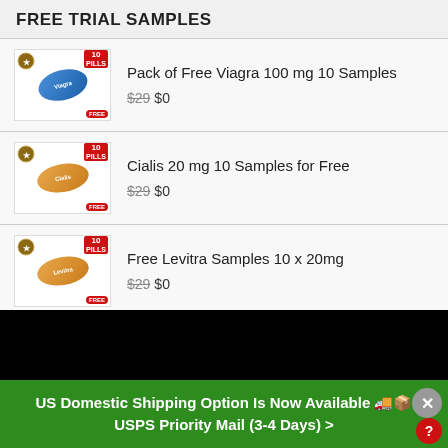FREE TRIAL SAMPLES
Pack of Free Viagra 100 mg 10 Samples — $29 $0
Cialis 20 mg 10 Samples for Free — $29 $0
Free Levitra Samples 10 x 20mg — $29 $0
US Domestic Shipping Option Is Now Available 🚚📦 USPS Priority Mail (3-4 Days) >